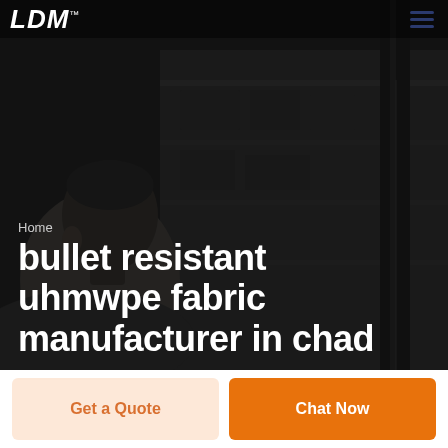LDM
[Figure (photo): Dark grayscale background photo showing a person (side profile, head and shoulder) with industrial/warehouse environment in the background]
Home
bullet resistant uhmwpe fabric manufacturer in chad
Get a Quote
Chat Now